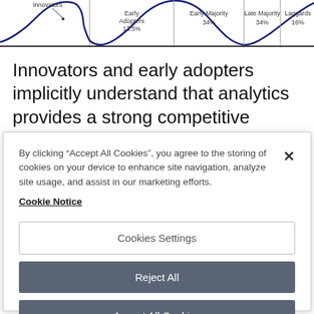[Figure (continuous-plot): Top portion of a technology adoption lifecycle bell curve diagram showing segments: Innovators, Early Adopters 13.5%, Early Majority 34%, Late Majority 34%, Laggards 16%. Blue bell curve over white background with vertical dividers.]
Innovators and early adopters implicitly understand that analytics provides a strong competitive advantage. But for the next set of
By clicking “Accept All Cookies”, you agree to the storing of cookies on your device to enhance site navigation, analyze site usage, and assist in our marketing efforts. Cookie Notice
Cookies Settings
Reject All
Accept All Cookies